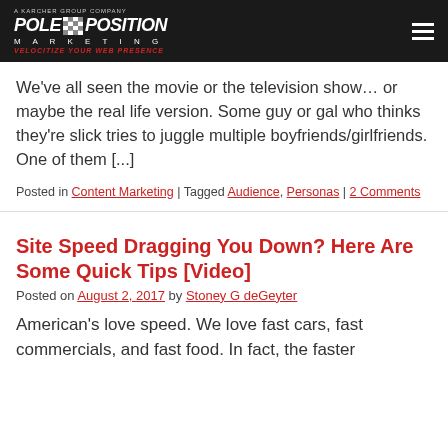Pole Position Marketing - Velocitize Your Web Presence
We've all seen the movie or the television show… or maybe the real life version. Some guy or gal who thinks they're slick tries to juggle multiple boyfriends/girlfriends. One of them [...]
Posted in Content Marketing | Tagged Audience, Personas | 2 Comments
Site Speed Dragging You Down? Here Are Some Quick Tips [Video]
Posted on August 2, 2017 by Stoney G deGeyter
American's love speed. We love fast cars, fast commercials, and fast food. In fact, the faster